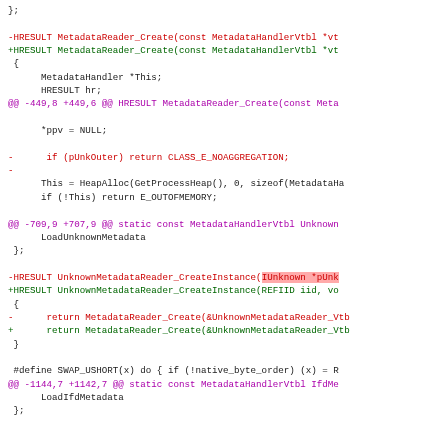[Figure (screenshot): A unified diff (patch) view of C source code changes involving MetadataReader functions. Removed lines in red, added lines in green, hunk headers in purple/magenta, and unchanged lines in dark/black.]